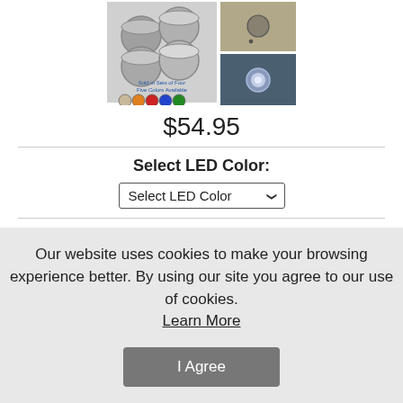[Figure (photo): Product photos of LED dot lights. Left image shows a set of four cylindrical LED lights in metallic/chrome finish, with a label 'Sold in Sets of Four, Five Colors Available' and five colored circles (beige, orange, red, blue, green) below. Right side shows two images: top is a wooden surface with a recessed hole, bottom shows an installed LED dot light in a wooden deck surface.]
$54.95
Select LED Color:
Select LED Color
MPN:
LL-SDD-DOT-X
Quantity:
Our website uses cookies to make your browsing experience better. By using our site you agree to our use of cookies.
Learn More
I Agree